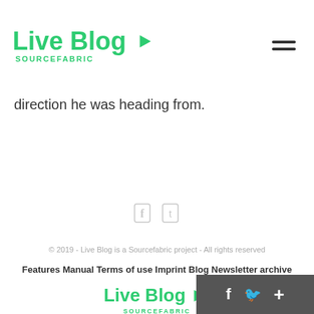Live Blog SOURCEFABRIC
direction he was heading from.
© 2019 - Live Blog is a Sourcefabric project - All rights reserved
Features Manual Terms of use Imprint Blog Newsletter archive
Live Blog SOURCEFABRIC